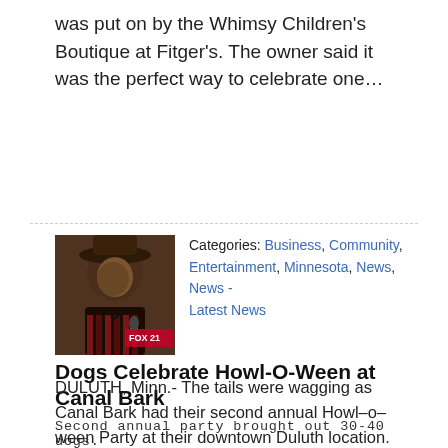was put on by the Whimsy Children's Boutique at Fitger's. The owner said it was the perfect way to celebrate one…
[Figure (photo): A person in a brown hat and costume, likely Freddy Krueger Halloween costume, being interviewed or photographed.]
Categories: Business, Community, Entertainment, Minnesota, News, News - Latest News
Dogs Celebrate Howl-O-Ween at Canal Bark
Second annual party brought out 30-40 dogs.
October 27, 2019 by Arman Rahman
DULUTH, Minn.- The tails were wagging as Canal Bark had their second annual Howl–o–ween Party at their downtown Duluth location. The celebration featured doggy costume contests for big dogs, small dogs, and group costumes. About 30–40 dogs came through to see all the other pups in the Halloween spirit, and it